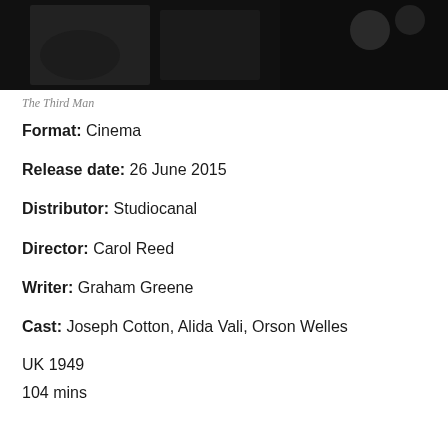[Figure (photo): Black and white still image from The Third Man]
The Third Man
Format: Cinema
Release date: 26 June 2015
Distributor: Studiocanal
Director: Carol Reed
Writer: Graham Greene
Cast: Joseph Cotton, Alida Vali, Orson Welles
UK 1949
104 mins